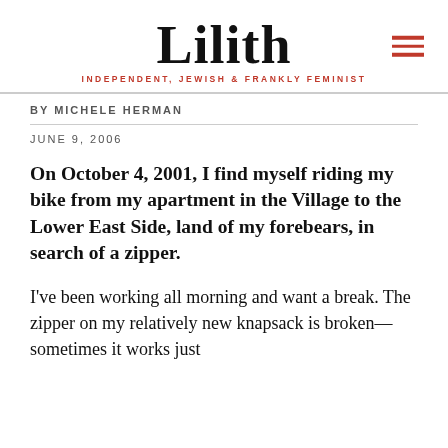Lilith — INDEPENDENT, JEWISH & FRANKLY FEMINIST
BY MICHELE HERMAN
JUNE 9, 2006
On October 4, 2001, I find myself riding my bike from my apartment in the Village to the Lower East Side, land of my forebears, in search of a zipper.
I've been working all morning and want a break. The zipper on my relatively new knapsack is broken—sometimes it works just